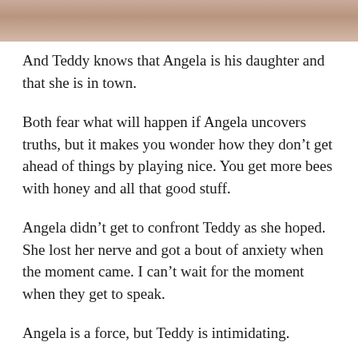[Figure (photo): Partial photo strip at top of page showing a person in a mauve/pink top, cropped]
And Teddy knows that Angela is his daughter and that she is in town.
Both fear what will happen if Angela uncovers truths, but it makes you wonder how they don’t get ahead of things by playing nice. You get more bees with honey and all that good stuff.
Angela didn’t get to confront Teddy as she hoped. She lost her nerve and got a bout of anxiety when the moment came. I can’t wait for the moment when they get to speak.
Angela is a force, but Teddy is intimidating.